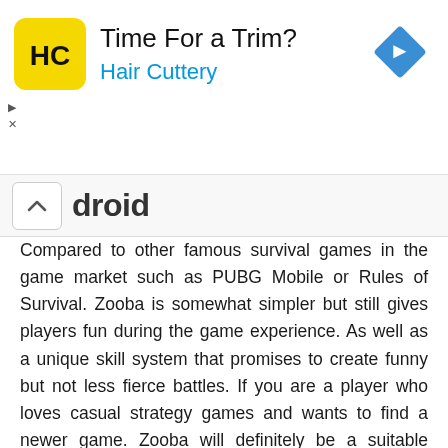[Figure (other): Advertisement banner for Hair Cuttery with logo, title 'Time For a Trim?', subtitle 'Hair Cuttery', and a blue diamond arrow icon]
droid
Compared to other famous survival games in the game market such as PUBG Mobile or Rules of Survival. Zooba is somewhat simpler but still gives players fun during the game experience. As well as a unique skill system that promises to create funny but not less fierce battles. If you are a player who loves casual strategy games and wants to find a newer game. Zooba will definitely be a suitable choice at the present time.
Features MOD: